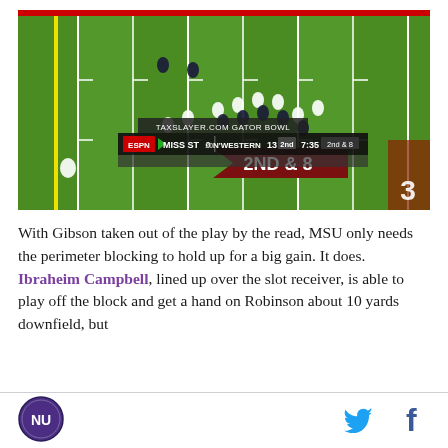[Figure (screenshot): ESPN broadcast screenshot of the TaxSlayer.com Gator Bowl football game showing an aerial view of the field. Score graphic shows MISS ST 0, N'WESTERN 13, 2nd quarter, 7:35, 2nd & 8. A red arrow graphic on field shows '2ND & 8'.]
With Gibson taken out of the play by the read, MSU only needs the perimeter blocking to hold up for a big gain. It does. Ibraheim Campbell, lined up over the slot receiver, is able to play off the block and get a hand on Robinson about 10 yards downfield, but
[Figure (logo): Northwestern University circular logo with NU text]
[Figure (other): Twitter bird icon in cyan blue]
[Figure (other): Facebook f icon in dark blue]